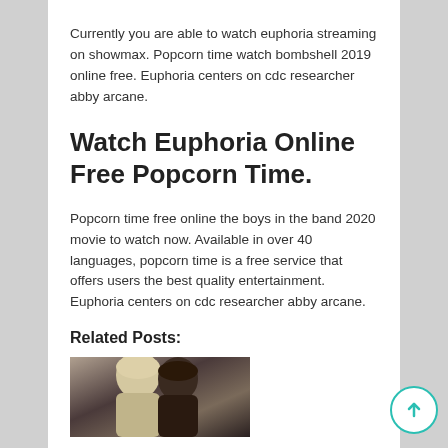Currently you are able to watch euphoria streaming on showmax. Popcorn time watch bombshell 2019 online free. Euphoria centers on cdc researcher abby arcane.
Watch Euphoria Online Free Popcorn Time.
Popcorn time free online the boys in the band 2020 movie to watch now. Available in over 40 languages, popcorn time is a free service that offers users the best quality entertainment. Euphoria centers on cdc researcher abby arcane.
Related Posts:
[Figure (photo): Two people with light and dark hair photographed closely together]